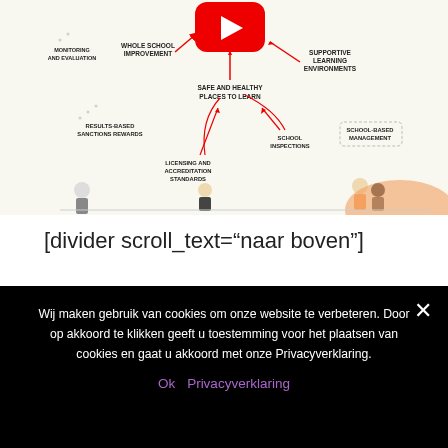[Figure (infographic): Mind-map style educational infographic showing school improvement concepts including 'Whole School Improvement', 'Safe and Healthy Places to Learn', 'Supportive Learning Environments', 'School-Based Management', 'School Inspections', 'Licensing and Accreditation Standards', 'Results-Based Sanctions Rewards', 'Monitoring and Evaluation'. Center shows a YouTube play button icon. Various arrows and dotted lines connect the elements with illustrated characters at the bottom.]
[divider scroll_text="naar boven"]
Wij maken gebruik van cookies om onze website te verbeteren. Door op akkoord te klikken geeft u toestemming voor het plaatsen van cookies en gaat u akkoord met onze Privacyverklaring.
Ok  Privacyverklaring